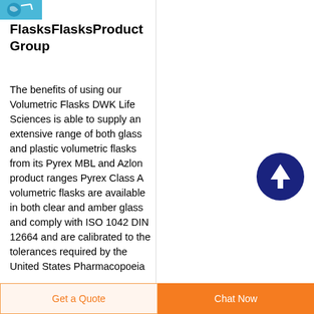[Figure (logo): Blue circular logo icon in top left corner]
FlasksFlasksProduct Group
The benefits of using our Volumetric Flasks DWK Life Sciences is able to supply an extensive range of both glass and plastic volumetric flasks from its Pyrex MBL and Azlon product ranges Pyrex Class A volumetric flasks are available in both clear and amber glass and comply with ISO 1042 DIN 12664 and are calibrated to the tolerances required by the United States Pharmacopoeia
[Figure (illustration): Dark navy blue circular scroll-to-top button with white upward arrow]
Get a Quote   Chat Now